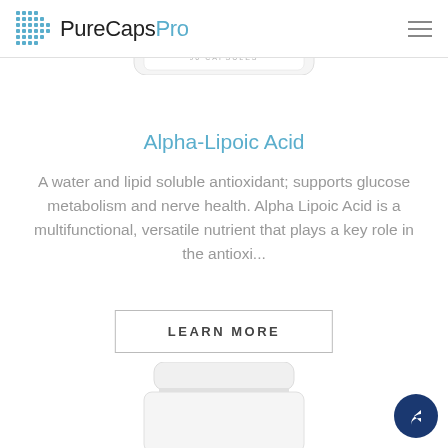PureCapsPro
[Figure (photo): Partial view of a white supplement bottle cap with text '90 CAPSULES' visible, cropped at top of page]
Alpha-Lipoic Acid
A water and lipid soluble antioxidant; supports glucose metabolism and nerve health. Alpha Lipoic Acid is a multifunctional, versatile nutrient that plays a key role in the antioxi...
LEARN MORE
[Figure (photo): Bottom portion of a white supplement bottle showing the cap and upper body, partially cropped at bottom of page]
[Figure (illustration): Dark navy circular share/reply button icon in bottom right corner]